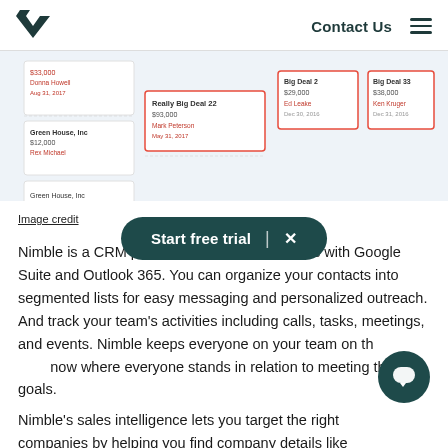Contact Us
[Figure (screenshot): CRM kanban board interface showing deal cards with company names, amounts, contacts, and dates]
Image credit
Nimble is a CRM platform that easily integrates with Google Suite and Outlook 365. You can organize your contacts into segmented lists for easy messaging and personalized outreach. And track your team’s activities including calls, tasks, meetings, and events. Nimble keeps everyone on your team on the same page—so you always know where everyone stands in relation to meeting their goals.
Nimble’s sales intelligence lets you target the right companies by helping you find company details like